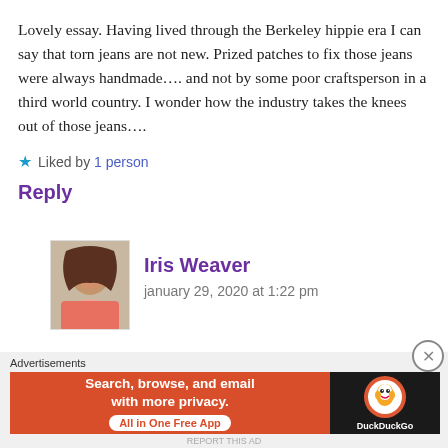Lovely essay. Having lived through the Berkeley hippie era I can say that torn jeans are not new. Prized patches to fix those jeans were always handmade…. and not by some poor craftsperson in a third world country. I wonder how the industry takes the knees out of those jeans….
★ Liked by 1person
Reply
[Figure (photo): Avatar photo of commenter Iris Weaver, a woman with short brown hair wearing a floral top]
Iris Weaver
january 29, 2020 at 1:22 pm
Advertisements
[Figure (screenshot): DuckDuckGo advertisement banner: orange left panel with 'Search, browse, and email with more privacy. All in One Free App' and dark right panel with DuckDuckGo duck logo]